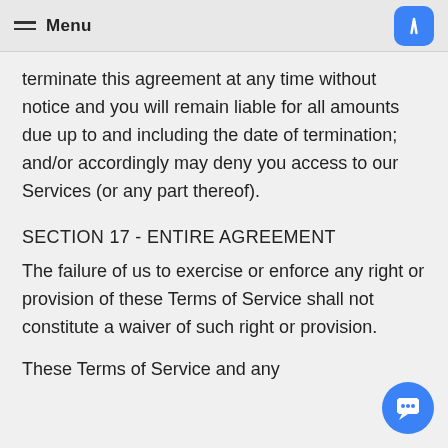Menu
terminate this agreement at any time without notice and you will remain liable for all amounts due up to and including the date of termination; and/or accordingly may deny you access to our Services (or any part thereof).
SECTION 17 - ENTIRE AGREEMENT
The failure of us to exercise or enforce any right or provision of these Terms of Service shall not constitute a waiver of such right or provision.
These Terms of Service and any